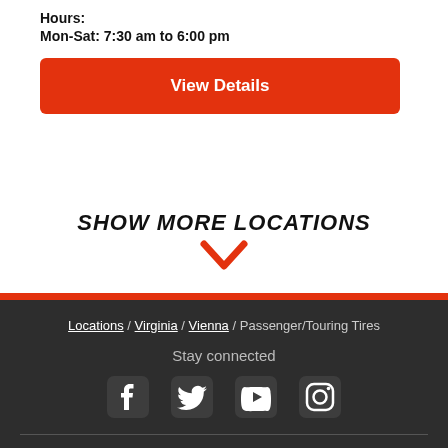Hours:
Mon-Sat: 7:30 am to 6:00 pm
View Details
SHOW MORE LOCATIONS
Locations / Virginia / Vienna / Passenger/Touring Tires
Stay connected
[Figure (other): Social media icons: Facebook, Twitter, YouTube, Instagram]
TIRES BY MAKE & MODEL